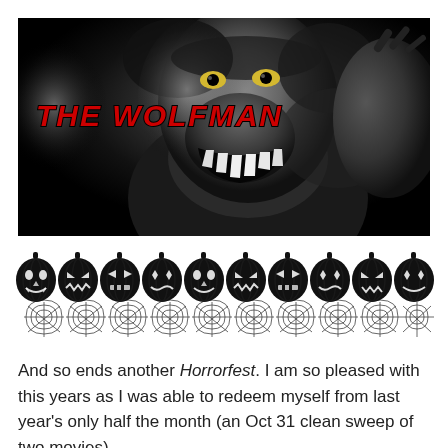[Figure (photo): Black and white movie still from The Wolfman showing a werewolf creature with fangs bared, with red stylized text overlay reading THE WOLFMAN in the upper left]
[Figure (illustration): Decorative Halloween banner featuring a row of black jack-o-lantern pumpkins with various facial expressions above a row of spiderweb designs]
And so ends another Horrorfest. I am so pleased with this years as I was able to redeem myself from last year's only half the month (an Oct 31 clean sweep of two movies).